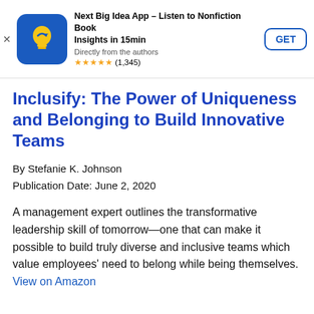[Figure (other): App advertisement banner for Next Big Idea App with icon, star rating, and GET button]
Inclusify: The Power of Uniqueness and Belonging to Build Innovative Teams
By Stefanie K. Johnson
Publication Date: June 2, 2020
A management expert outlines the transformative leadership skill of tomorrow—one that can make it possible to build truly diverse and inclusive teams which value employees' need to belong while being themselves. View on Amazon